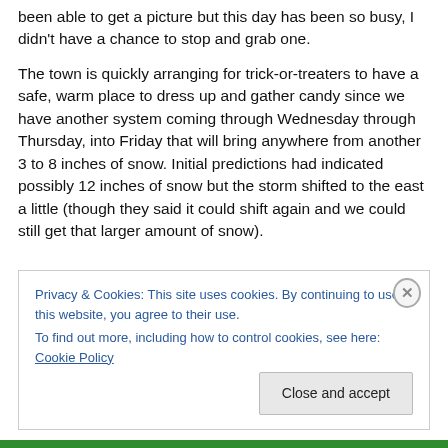been able to get a picture but this day has been so busy, I didn't have a chance to stop and grab one.
The town is quickly arranging for trick-or-treaters to have a safe, warm place to dress up and gather candy since we have another system coming through Wednesday through Thursday, into Friday that will bring anywhere from another 3 to 8 inches of snow. Initial predictions had indicated possibly 12 inches of snow but the storm shifted to the east a little (though they said it could shift again and we could still get that larger amount of snow).
Privacy & Cookies: This site uses cookies. By continuing to use this website, you agree to their use. To find out more, including how to control cookies, see here: Cookie Policy
Close and accept